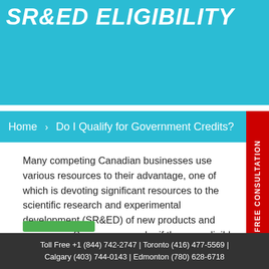SR&ED ELIGIBILITY
Home > Do I Qualify for Government Credits?
Many competing Canadian businesses use various resources to their advantage, one of which is devoting significant resources to the scientific research and experimental development (SR&ED) of new products and processes. Some may wonder if they are eligible for government grants through SR&ED, but before getting into
Toll Free +1 (844) 742-2747 | Toronto (416) 477-5569 | Calgary (403) 744-0143 | Edmonton (780) 628-6718